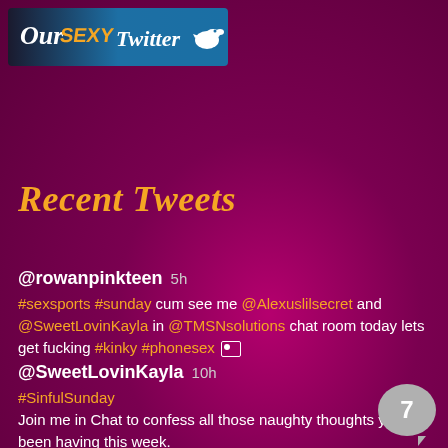[Figure (logo): Our Sexy Twitter banner logo with Twitter bird icon on blue/dark background]
Recent Tweets
@rowanpinkteen 5h
#sexsports #sunday cum see me @Alexuslilsecret and @SweetLovinKayla in @TMSNsolutions chat room today lets get fucking #kinky #phonesex [image icon]
@SweetLovinKayla 10h
#SinfulSunday
Join me in Chat to confess all those naughty thoughts you've been having this week.